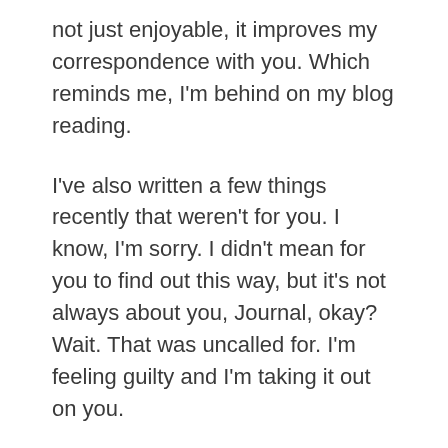not just enjoyable, it improves my correspondence with you. Which reminds me, I'm behind on my blog reading.
I've also written a few things recently that weren't for you. I know, I'm sorry. I didn't mean for you to find out this way, but it's not always about you, Journal, okay? Wait. That was uncalled for. I'm feeling guilty and I'm taking it out on you.
All I can say is, I'm sorry and I promise to be more attentive.
Hmm. The fall tv season does start tomorrow…um… well, I'll try my best.